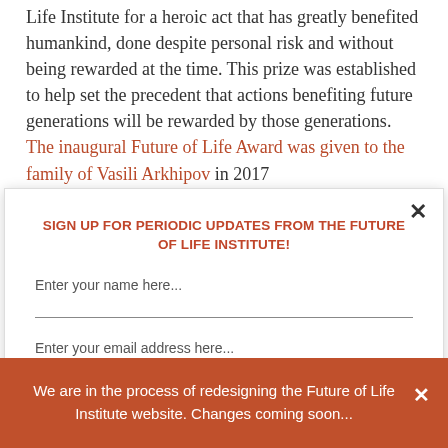Life Institute for a heroic act that has greatly benefited humankind, done despite personal risk and without being rewarded at the time. This prize was established to help set the precedent that actions benefiting future generations will be rewarded by those generations. The inaugural Future of Life Award was given to the family of Vasili Arkhipov in 2017
SIGN UP FOR PERIODIC UPDATES FROM THE FUTURE OF LIFE INSTITUTE!
Enter your name here...
Enter your email address here...
We are in the process of redesigning the Future of Life Institute website. Changes coming soon...